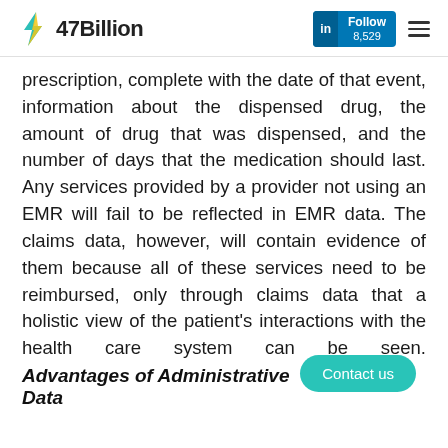47Billion | in Follow 8,529
prescription, complete with the date of that event, information about the dispensed drug, the amount of drug that was dispensed, and the number of days that the medication should last. Any services provided by a provider not using an EMR will fail to be reflected in EMR data. The claims data, however, will contain evidence of them because all of these services need to be reimbursed, only through claims data that a holistic view of the patient's interactions with the health care system can be seen.
Advantages of Administrative Data